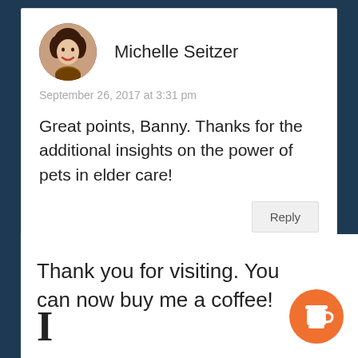Michelle Seitzer
September 26, 2017 at 3:31 pm
Great points, Banny. Thanks for the additional insights on the power of pets in elder care!
Reply
Thank you for visiting. You can now buy me a coffee!
[Figure (illustration): Orange circular coffee cup button icon in bottom right corner]